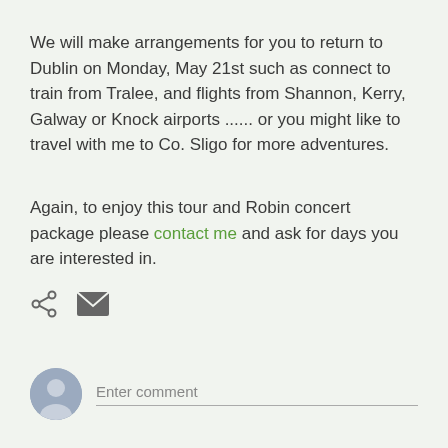We will make arrangements for you to return to Dublin on Monday, May 21st such as connect to train from Tralee, and flights from Shannon, Kerry, Galway or Knock airports ...... or you might like to travel with me to Co. Sligo for more adventures.
Again, to enjoy this tour and Robin concert package please contact me and ask for days you are interested in.
[Figure (screenshot): Share and email icons]
[Figure (screenshot): User avatar circle with Enter comment input field]